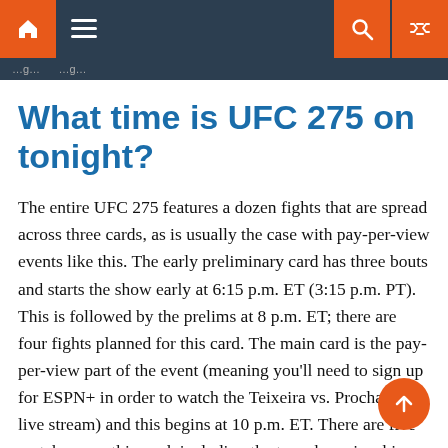Navigation bar with home, menu, search, and shuffle icons
What time is UFC 275 on tonight?
The entire UFC 275 features a dozen fights that are spread across three cards, as is usually the case with pay-per-view events like this. The early preliminary card has three bouts and starts the show early at 6:15 p.m. ET (3:15 p.m. PT). This is followed by the prelims at 8 p.m. ET; there are four fights planned for this card. The main card is the pay-per-view part of the event (meaning you'll need to sign up for ESPN+ in order to watch the Teixeira vs. Prochazka live stream) and this begins at 10 p.m. ET. There are five matchups on this card, including the two championship headliners, and the UFC blocks out 30 minutes for main card fights. We expect the